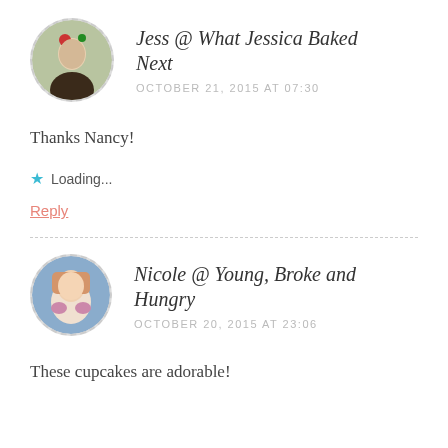Jess @ What Jessica Baked Next
OCTOBER 21, 2015 AT 07:30
Thanks Nancy!
Loading...
Reply
Nicole @ Young, Broke and Hungry
OCTOBER 20, 2015 AT 23:06
These cupcakes are adorable!